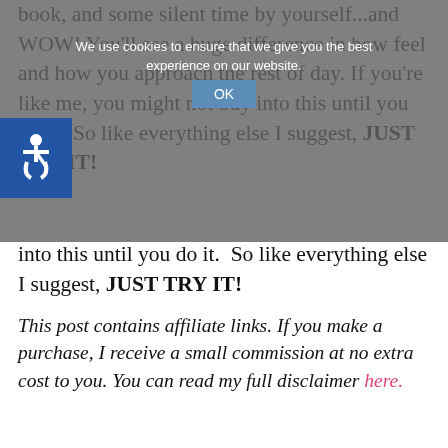book, and some silent time by yourself...and WOW! You'll see a huge difference in how feel and how you approach the rest of day. If you're like me, you might not buy into this until you do it. So like everything else I suggest, JUST TRY IT!
We use cookies to ensure that we give you the best experience on our website. OK
This post contains affiliate links. If you make a purchase, I receive a small commission at no extra cost to you. You can read my full disclaimer here.
Why My Morning Routine is So Important
My morning routine is important to me, partially because it includes activities that I would do whether I woke up early or not